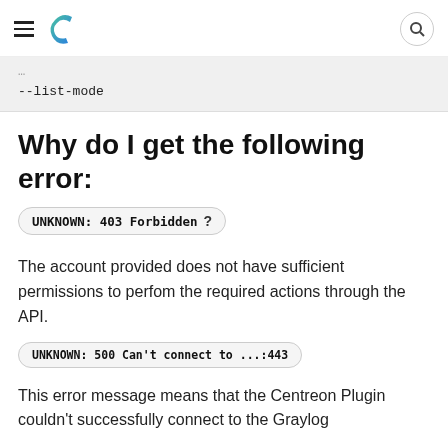Centreon logo and search button header
--list-mode
Why do I get the following error:
UNKNOWN: 403 Forbidden ?
The account provided does not have sufficient permissions to perfom the required actions through the API.
UNKNOWN: 500 Can't connect to ...:443
This error message means that the Centreon Plugin couldn't successfully connect to the Graylog